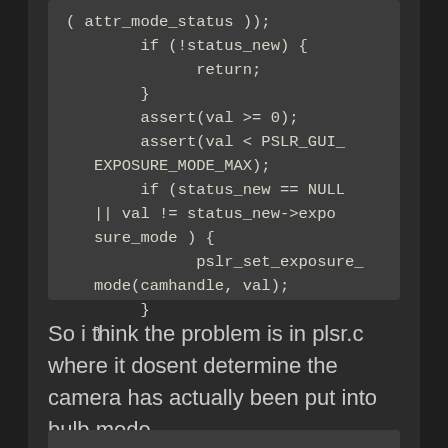[Figure (screenshot): Dark-themed code block showing C code fragment: if (!status_new) { return; } assert(val >= 0); assert(val < PSLR_GUI_EXPOSURE_MODE_MAX); if (status_new == NULL || val != status_new->exposure_mode ) { pslr_set_exposure_mode(camhandle, val); } }]
So i think the problem is in plsr.c where it dosent determine the camera has actually been put into bulb mode.
[Figure (screenshot): Bottom portion of another dark-themed code block, partially visible.]